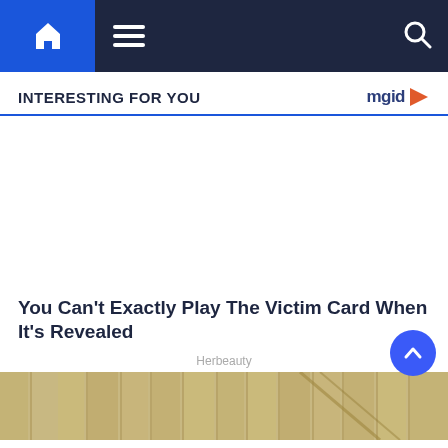Navigation bar with home, menu, and search icons
INTERESTING FOR YOU
[Figure (other): MGID logo with play button icon]
[Figure (other): Advertisement placeholder area (blank white)]
You Can't Exactly Play The Victim Card When It's Revealed
Herbeauty
[Figure (photo): Bottom portion of a bamboo/wooden fence photo]